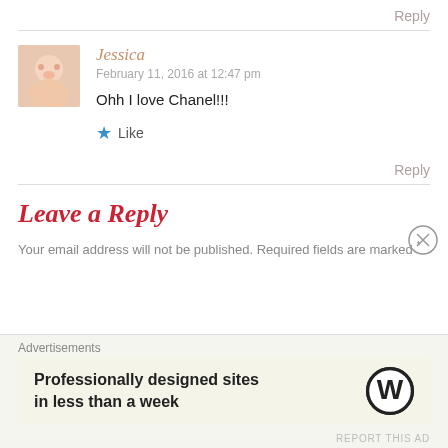Reply
[Figure (photo): Small avatar photo of a baby/infant, pink-toned]
Jessica
February 11, 2016 at 12:47 pm
Ohh I love Chanel!!!
★ Like
Reply
Leave a Reply
Your email address will not be published. Required fields are marked *
Advertisements
Professionally designed sites in less than a week